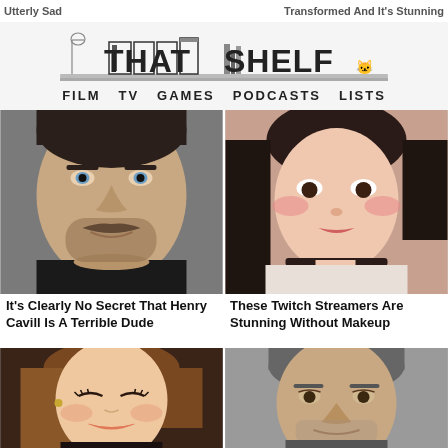Utterly Sad
Transformed And It's Stunning
[Figure (logo): That Shelf logo with book/shelf illustration and navigation bar: FILM TV GAMES PODCASTS LISTS]
[Figure (photo): Close-up headshot of Henry Cavill with mustache]
[Figure (photo): Close-up headshot of a female Twitch streamer with dark hair and choker]
It's Clearly No Secret That Henry Cavill Is A Terrible Dude
These Twitch Streamers Are Stunning Without Makeup
[Figure (photo): Animated 3D illustration of a female character with long brown hair]
[Figure (photo): Headshot of Mark Ruffalo with grey hair]